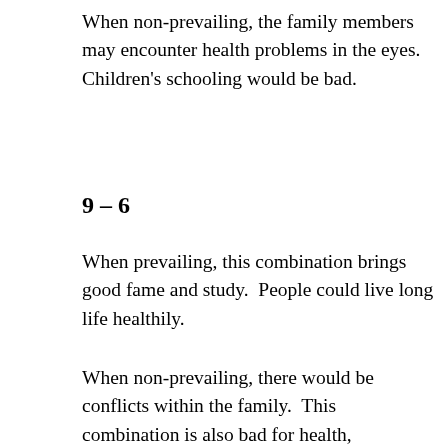When non-prevailing, the family members may encounter health problems in the eyes. Children's schooling would be bad.
9 – 6
When prevailing, this combination brings good fame and study.  People could live long life healthily.
When non-prevailing, there would be conflicts within the family.  This combination is also bad for health, especially for the lungs and respiratory system.